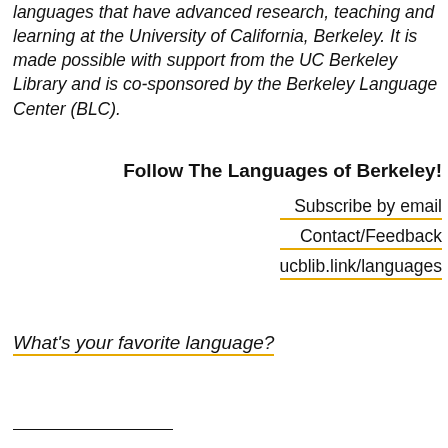languages that have advanced research, teaching and learning at the University of California, Berkeley. It is made possible with support from the UC Berkeley Library and is co-sponsored by the Berkeley Language Center (BLC).
Follow The Languages of Berkeley!
Subscribe by email
Contact/Feedback
ucblib.link/languages
What’s your favorite language?